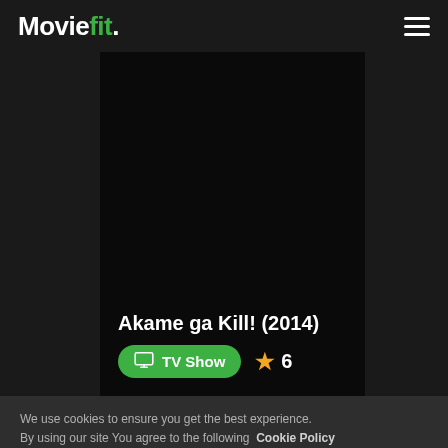Moviefit.
[Figure (screenshot): Dark movie/TV show card for Akame ga Kill! (2014) with a nearly black poster image]
Akame ga Kill! (2014)
TV Show  ★ 6
We use cookies to ensure you get the best experience.
By using our site You agree to the following  Cookie Policy
OK! I don't mind.